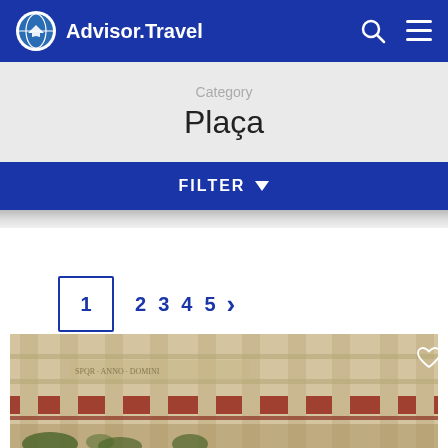Advisor.Travel
Plaça
Category
FILTER
1  2 3 4 5 >
[Figure (photo): Architectural facade of a historical building with ornate columns, carved stonework, and red brick details. A heart/favorite icon appears in the top right corner.]